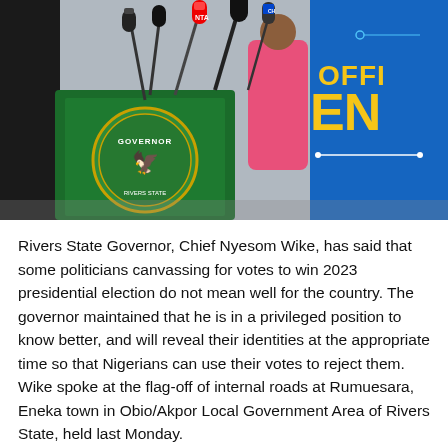[Figure (photo): Press conference photo showing a podium with a green 'GOVERNOR' seal/lectern, multiple microphones in the foreground, a person in a pink outfit partially visible, and a blue banner with yellow text reading 'OFFI...' and 'EN...' partially visible on the right side.]
Rivers State Governor, Chief Nyesom Wike, has said that some politicians canvassing for votes to win 2023 presidential election do not mean well for the country. The governor maintained that he is in a privileged position to know better, and will reveal their identities at the appropriate time so that Nigerians can use their votes to reject them.
Wike spoke at the flag-off of internal roads at Rumuesara, Eneka town in Obio/Akpor Local Government Area of Rivers State, held last Monday.